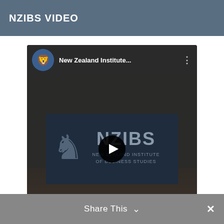NZIBS VIDEO
[Figure (screenshot): An embedded YouTube-style video player showing a New Zealand Institute... channel with a dark video thumbnail featuring the NZIBS (New Zealand Institute of Business Studies) logo with a lion heraldic icon, a play button overlay, and a hand visible in the lower portion of the frame.]
Share This ∨ ✕